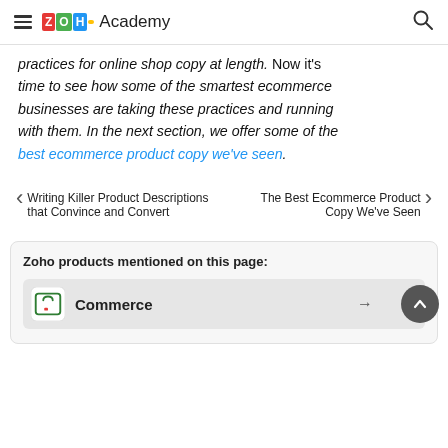ZOHO Academy
practices for online shop copy at length. Now it's time to see how some of the smartest ecommerce businesses are taking these practices and running with them. In the next section, we offer some of the best ecommerce product copy we've seen.
< Writing Killer Product Descriptions that Convince and Convert
The Best Ecommerce Product Copy We've Seen >
Zoho products mentioned on this page:
Commerce →